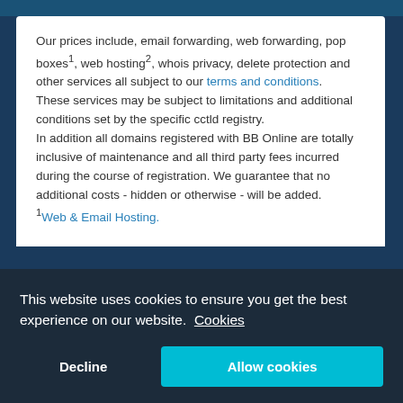Our prices include, email forwarding, web forwarding, pop boxes¹, web hosting², whois privacy, delete protection and other services all subject to our terms and conditions.
These services may be subject to limitations and additional conditions set by the specific cctld registry.
In addition all domains registered with BB Online are totally inclusive of maintenance and all third party fees incurred during the course of registration. We guarantee that no additional costs - hidden or otherwise - will be added.
¹Web & Email Hosting.
[Figure (screenshot): Cookie consent banner overlay with dark navy background. Text reads: 'This website uses cookies to ensure you get the best experience on our website. Cookies'. Two buttons: 'Decline' (text only) and 'Allow cookies' (teal/cyan filled button).]
.org.au Domain Fact Sheet